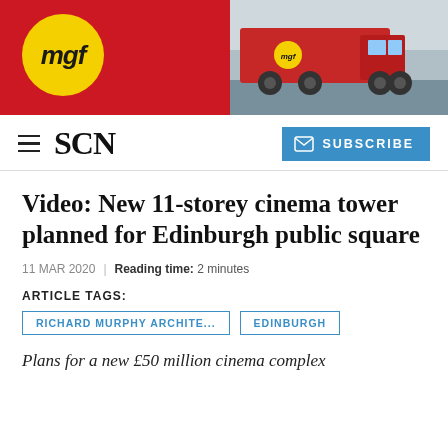[Figure (logo): MGF company banner with red background, yellow circle logo with 'mgf' text, and red truck photo on the right]
SCN | SUBSCRIBE
Video: New 11-storey cinema tower planned for Edinburgh public square
11 MAR 2020 | Reading time: 2 minutes
ARTICLE TAGS:
RICHARD MURPHY ARCHITE...
EDINBURGH
Plans for a new £50 million cinema complex